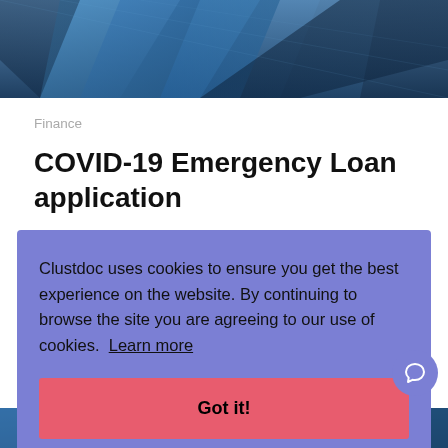[Figure (photo): Header photo showing blue geometric glass building architecture]
Finance
COVID-19 Emergency Loan application
Use this COVID-19 Emergency Loan application...
Clustdoc uses cookies to ensure you get the best experience on the website. By continuing to browse the site you are agreeing to our use of cookies.  Learn more
[Figure (photo): Footer strip showing partial blue building image]